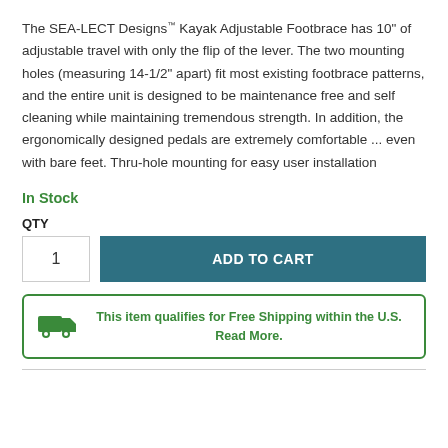The SEA-LECT Designs™ Kayak Adjustable Footbrace has 10" of adjustable travel with only the flip of the lever. The two mounting holes (measuring 14-1/2" apart) fit most existing footbrace patterns, and the entire unit is designed to be maintenance free and self cleaning while maintaining tremendous strength. In addition, the ergonomically designed pedals are extremely comfortable ... even with bare feet. Thru-hole mounting for easy user installation
In Stock
QTY
1
ADD TO CART
This item qualifies for Free Shipping within the U.S. Read More.